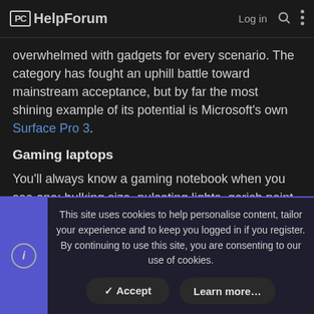PC HelpForum — Log in [search] [menu]
overwhelmed with gadgets for every scenario. The category has fought an uphill battle toward mainstream acceptance, but by far the most shining example of its potential is Microsoft's own Surface Pro 3.
Gaming laptops
You'll always know a gaming notebook when you see one: hulking size, pulsating lights, garish paint jobs and whirring fans. But with thin-and-light (and stylish) products like the Razer Blade or MSI GS60 Ghost Pro, even that paradigm is starting to shift.
This site uses cookies to help personalise content, tailor your experience and to keep you logged in if you register.
By continuing to use this site, you are consenting to our use of cookies.